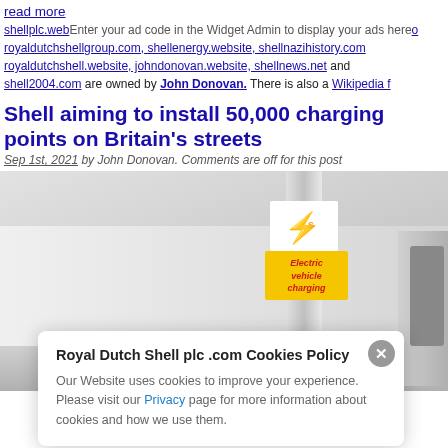read more
shellplc.website and its sister non-profit websites royaldutchshellgroup.com, shellenergy.website, shellnazihistory.com, royaldutchshell.website, johndonovan.website, shellnews.net and shell2004.com are owned by John Donovan. There is also a Wikipedia f… [Enter your ad code in the Widget Admin to display your ads here]
Shell aiming to install 50,000 charging points on Britain's streets
Sep 1st, 2021 by John Donovan. Comments are off for this post
[Figure (photo): Photo of a Shell electric vehicle charging station with yellow 'Electric vehicle charging' sign and Shell EV logo]
Royal Dutch Shell plc .com Cookies Policy — Our Website uses cookies to improve your experience. Please visit our Privacy page for more information about cookies and how we use them.